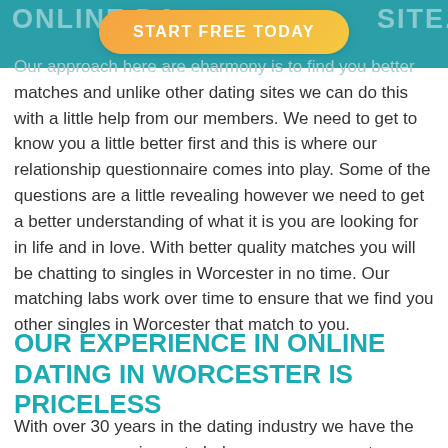ONLINE DATING ... SITE.
[Figure (other): Orange-yellow gradient CTA button with text START FREE TODAY]
Our approach here are eharmony is to find you better matches and unlike other dating sites we can do this with a little help from our members. We need to get to know you a little better first and this is where our relationship questionnaire comes into play. Some of the questions are a little revealing however we need to get a better understanding of what it is you are looking for in life and in love. With better quality matches you will be chatting to singles in Worcester in no time. Our matching labs work over time to ensure that we find you other singles in Worcester that match to you.
OUR EXPERIENCE IN ONLINE DATING IN WORCESTER IS PRICELESS
With over 30 years in the dating industry we have the necessary experience to help you on your way to finding